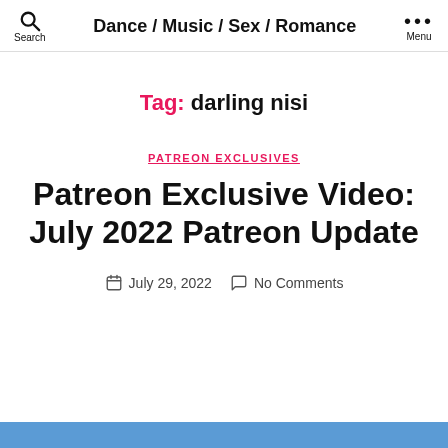Search | Dance / Music / Sex / Romance | Menu
Tag: darling nisi
PATREON EXCLUSIVES
Patreon Exclusive Video: July 2022 Patreon Update
July 29, 2022  No Comments